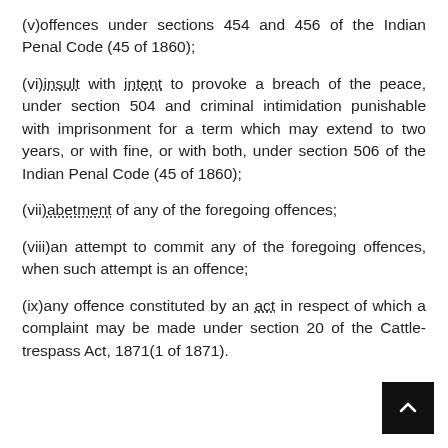(v)offences under sections 454 and 456 of the Indian Penal Code (45 of 1860);
(vi)insult with intent to provoke a breach of the peace, under section 504 and criminal intimidation punishable with imprisonment for a term which may extend to two years, or with fine, or with both, under section 506 of the Indian Penal Code (45 of 1860);
(vii)abetment of any of the foregoing offences;
(viii)an attempt to commit any of the foregoing offences, when such attempt is an offence;
(ix)any offence constituted by an act in respect of which a complaint may be made under section 20 of the Cattle-trespass Act, 1871(1 of 1871).